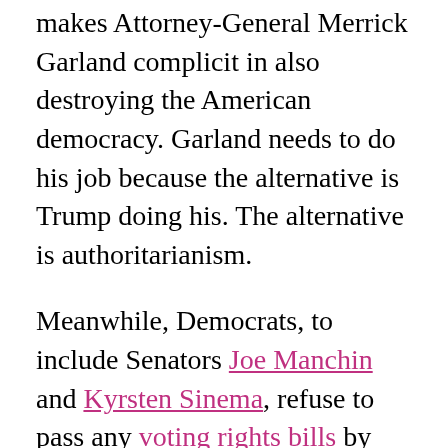makes Attorney-General Merrick Garland complicit in also destroying the American democracy. Garland needs to do his job because the alternative is Trump doing his. The alternative is authoritarianism.

Meanwhile, Democrats, to include Senators Joe Manchin and Kyrsten Sinema, refuse to pass any voting rights bills by skirting the filibuster. If Trump runs and wins in 2024, it's on those two shortsighted Senators. If Trump tries and succeeds next time in fully taking over the country with another attempted coup, it's on those two idiots. Let us never forget their role in getting the country to the brink of